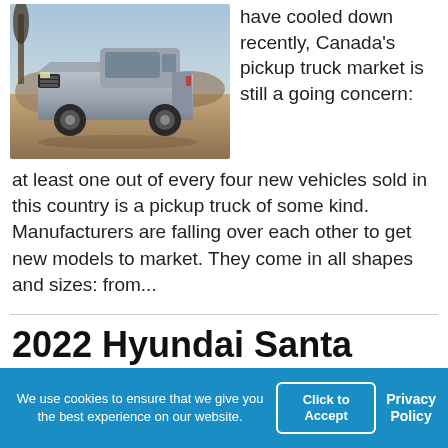[Figure (photo): A silver pickup truck (Nissan Frontier or similar) photographed outdoors in a desert/dusty landscape. The truck is shown from a front three-quarter angle.]
have cooled down recently, Canada's pickup truck market is still a going concern: at least one out of every four new vehicles sold in this country is a pickup truck of some kind. Manufacturers are falling over each other to get new models to market. They come in all shapes and sizes: from...
2022 Hyundai Santa Cruz
We use cookies to ensure that we give you the best experience on our website.
Click to Accept
Privacy Policy